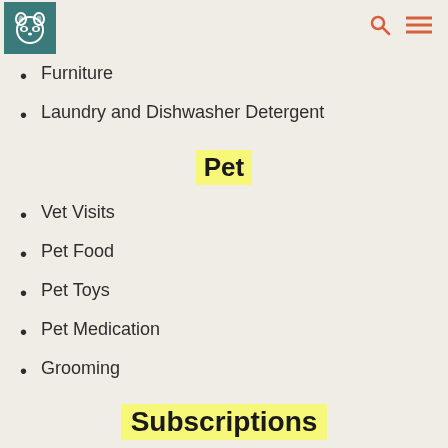Logo and navigation icons
Furniture
Laundry and Dishwasher Detergent
Pet
Vet Visits
Pet Food
Pet Toys
Pet Medication
Grooming
Subscriptions